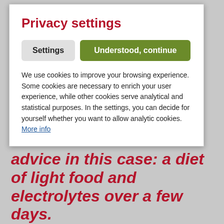Privacy settings
Settings | Understood, continue
We use cookies to improve your browsing experience. Some cookies are necessary to enrich your user experience, while other cookies serve analytical and statistical purposes. In the settings, you can decide for yourself whether you want to allow analytic cookies. More info
advice in this case: a diet of light food and electrolytes over a few days.
As easy as that may sound, not everyone has the ingredients needed to be able to prepare this sort of food at home.
Anifit has just the solution for emergencies, and it's ready to